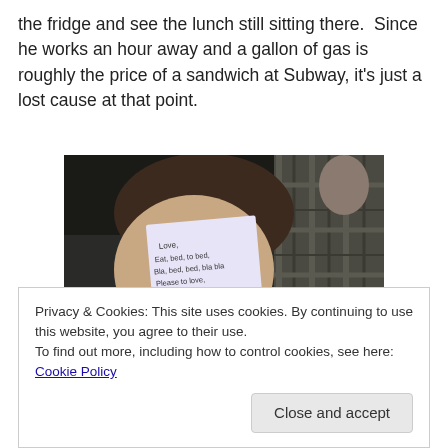the fridge and see the lunch still sitting there.  Since he works an hour away and a gallon of gas is roughly the price of a sandwich at Subway, it's just a lost cause at that point.
[Figure (photo): A child lying down with a handwritten note stuck to their face. The note appears to be from 'Mom'. The child is resting on or near a plaid/flannel fabric.]
Privacy & Cookies: This site uses cookies. By continuing to use this website, you agree to their use.
To find out more, including how to control cookies, see here: Cookie Policy
Close and accept